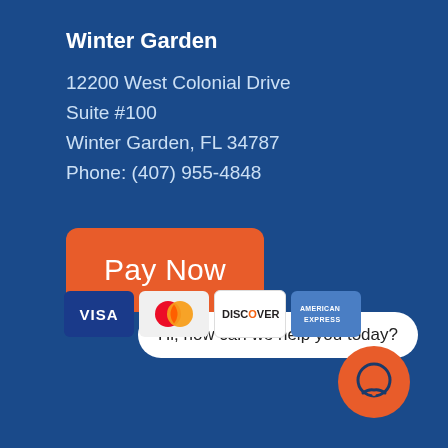Winter Garden
12200 West Colonial Drive
Suite #100
Winter Garden, FL 34787
Phone: (407) 955-4848
[Figure (infographic): Orange rounded rectangle button with white text reading 'Pay Now']
Hi, how can we help you today?
[Figure (infographic): Four payment card logos: VISA, Mastercard, Discover, American Express]
[Figure (infographic): Orange circle chat icon with speech bubble symbol]